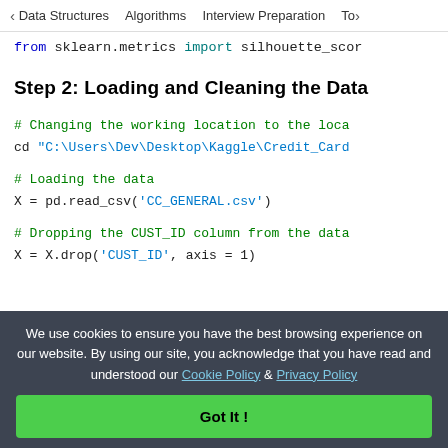< Data Structures   Algorithms   Interview Preparation   To>
from sklearn.metrics import silhouette_scor
Step 2: Loading and Cleaning the Data
# Changing the working location to the loca
cd "C:\Users\Dev\Desktop\Kaggle\Credit_Card
# Loading the data
X = pd.read_csv('CC_GENERAL.csv')
# Dropping the CUST_ID column from the data
X = X.drop('CUST_ID', axis = 1)
We use cookies to ensure you have the best browsing experience on our website. By using our site, you acknowledge that you have read and understood our Cookie Policy & Privacy Policy
Got It !